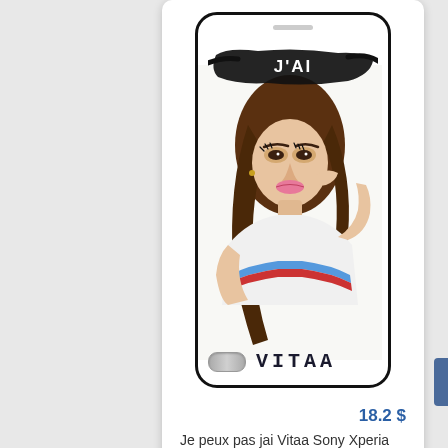[Figure (photo): Product listing showing a phone case with 'J'AI' text on a black brush stroke graphic over a photo of the artist Vitaa. The phone case has 'VITAA' text and a home button at the bottom.]
18.2 $
Je peux pas jai Vitaa Sony Xperia C4 case
[Figure (photo): Partial view of a second phone case product showing handwritten-style text 'J'PEUX PAS' on white background. A small blue button/tab is visible on the right side.]